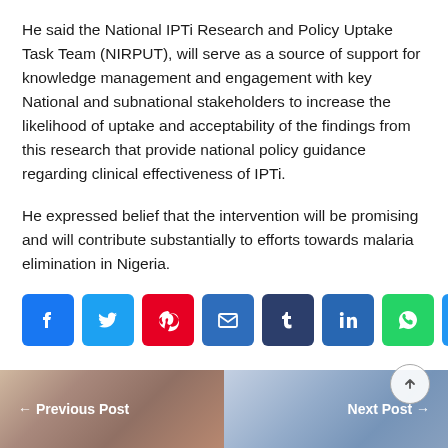He said the National IPTi Research and Policy Uptake Task Team (NIRPUT), will serve as a source of support for knowledge management and engagement with key National and subnational stakeholders to increase the likelihood of uptake and acceptability of the findings from this research that provide national policy guidance regarding clinical effectiveness of IPTi.
He expressed belief that the intervention will be promising and will contribute substantially to efforts towards malaria elimination in Nigeria.
[Figure (other): Social media sharing icons row: Facebook (blue), Twitter (light blue), Pinterest (red), Email (blue), Tumblr (dark navy), LinkedIn (blue), WhatsApp (green), Share/plus (blue)]
← Previous Post    Next Post →